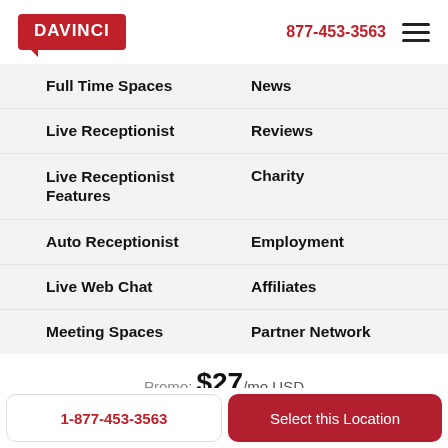[Figure (logo): DAVINCI red logo with speech bubble tail]
877-453-3563
Full Time Spaces
News
Live Receptionist
Reviews
Live Receptionist Features
Charity
Auto Receptionist
Employment
Live Web Chat
Affiliates
Meeting Spaces
Partner Network
Promo: $27/mo USD
$199 One-time Setup Fee
1-877-453-3563
Select this Location